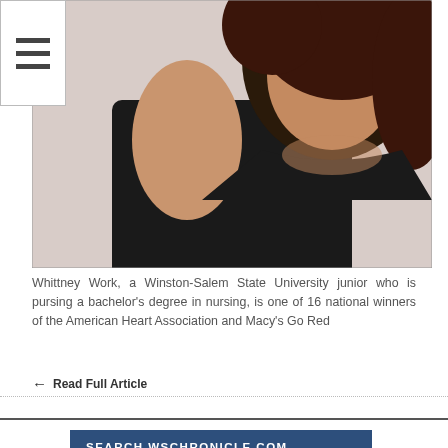[Figure (photo): Photo of Whittney Work, a young woman with reddish-brown hair wearing a black top, posed against a light background]
Whittney Work, a Winston-Salem State University junior who is pursing a bachelor’s degree in nursing, is one of 16 national winners of the American Heart Association and Macy’s Go Red
Read Full Article
SEARCH WSCHRONICLE.COM
FEATURED SPONSOR